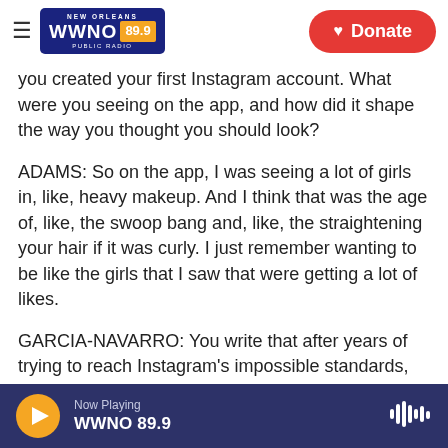NEW ORLEANS WWNO 89.9 PUBLIC RADIO | Donate
you created your first Instagram account. What were you seeing on the app, and how did it shape the way you thought you should look?
ADAMS: So on the app, I was seeing a lot of girls in, like, heavy makeup. And I think that was the age of, like, the swoop bang and, like, the straightening your hair if it was curly. I just remember wanting to be like the girls that I saw that were getting a lot of likes.
GARCIA-NAVARRO: You write that after years of trying to reach Instagram's impossible standards, you began to develop an overwhelming fear of
Now Playing WWNO 89.9